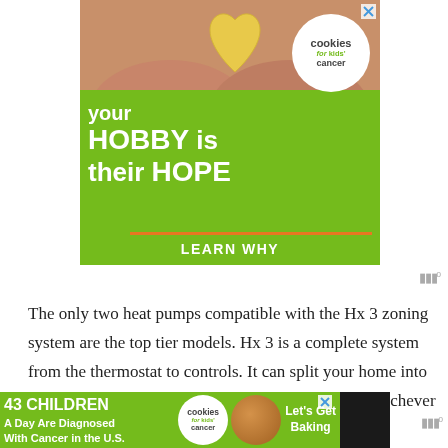[Figure (illustration): Advertisement banner for 'Cookies for Kids' Cancer'. Green background with photo of hands holding a heart-shaped cookie at top. White circle logo with 'cookies for kids' cancer' text. Large white bold text reads 'your HOBBY is their HOPE'. Orange underline. 'LEARN WHY' button text at bottom.]
The only two heat pumps compatible with the Hx 3 zoning system are the top tier models. Hx 3 is a complete system from the thermostat to controls. It can split your home into up to 8 different zones and focus the attention on whichever
[Figure (illustration): Bottom advertisement banner on dark background for 'Cookies for Kids Cancer'. Green section with text '43 CHILDREN A Day Are Diagnosed With Cancer in the U.S.' Cookie logo circle in center. Right section with cookie image and 'Let's Get Baking' text. Close X button visible.]